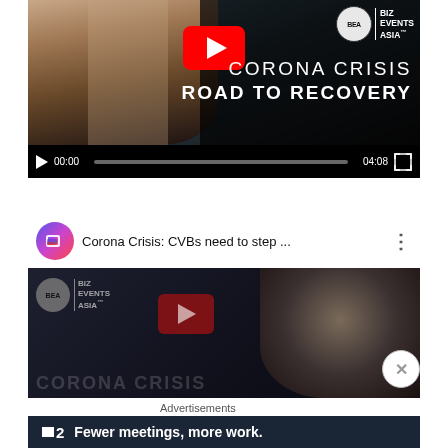[Figure (screenshot): YouTube video player showing 'Corona Crisis: Road to Recovery' by Biz Events Asia. Video thumbnail shows a smiling woman with curly hair. Play button overlay visible. Controls show 00:00 / 04:08.]
[Figure (screenshot): YouTube video embed for 'Corona Crisis: CVBs need to step ...' by Biz Events Asia channel. Shows channel icon, video title in header bar, and video thumbnail with BEA logo, play button, and partial 'CORONA CRISIS' text.]
Advertisements
[Figure (screenshot): Advertisement banner with dark navy background showing a square icon with '2' and text 'Fewer meetings, more work.']